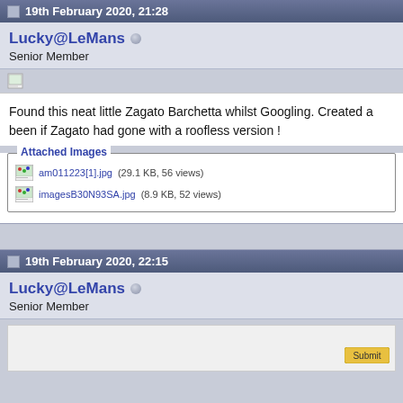19th February 2020, 21:28
Lucky@LeMans
Senior Member
Found this neat little Zagato Barchetta whilst Googling. Created a been if Zagato had gone with a roofless version !
Attached Images
am011223[1].jpg (29.1 KB, 56 views)
imagesB30N93SA.jpg (8.9 KB, 52 views)
19th February 2020, 22:15
Lucky@LeMans
Senior Member